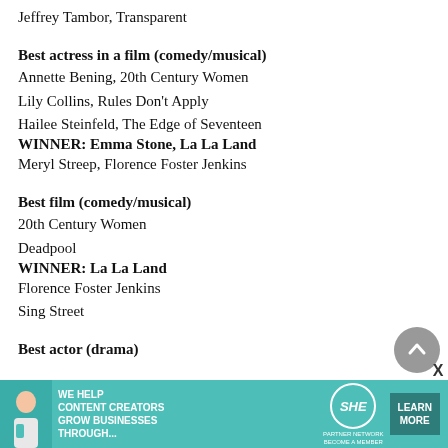Jeffrey Tambor, Transparent
Best actress in a film (comedy/musical)
Annette Bening, 20th Century Women
Lily Collins, Rules Don't Apply
Hailee Steinfeld, The Edge of Seventeen
WINNER: Emma Stone, La La Land
Meryl Streep, Florence Foster Jenkins
Best film (comedy/musical)
20th Century Women
Deadpool
WINNER: La La Land
Florence Foster Jenkins
Sing Street
Best actor (drama)
[Figure (infographic): SHE Media advertisement banner: We help content creators grow businesses through... SHE Partner Network. Become a member. Learn More button.]